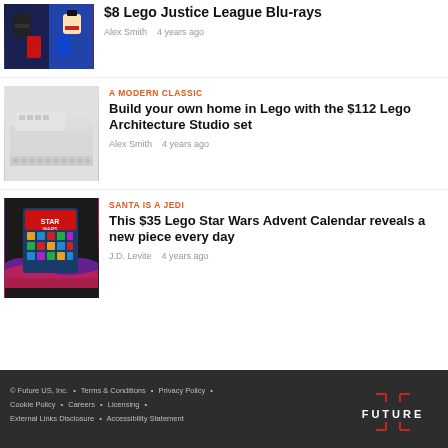[Figure (photo): LEGO minifigures from Justice League (Batman, Superman) on colorful background]
$8 Lego Justice League Blu-rays
Alex Smith   4 years ago
[Figure (photo): White LEGO Architecture Studio set model of a modern building]
A MODERN CLASSIC
Build your own home in Lego with the $112 Lego Architecture Studio set
Alex Smith   4 years ago
[Figure (photo): LEGO Star Wars Advent Calendar box with colorful Star Wars scenes, purple and pink wave decoration]
SANTA IS A JEDI
This $35 Lego Star Wars Advent Calendar reveals a new piece every day
J.D. Levite   4 years ago
© Future US, Inc. • Terms & Conditions • Privacy Policy • Cookie Policy • Careers • Licensing • External Links Disclosure • Accessibility Statement